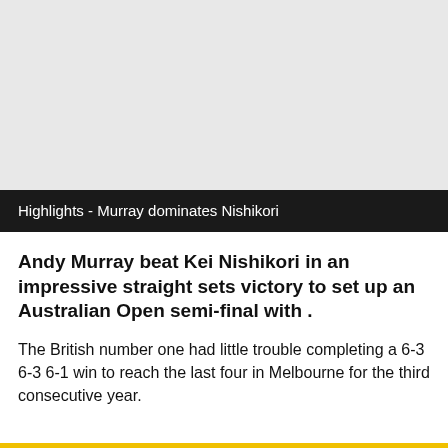[Figure (photo): Light grey placeholder image area representing a video thumbnail or photo]
Highlights - Murray dominates Nishikori
Andy Murray beat Kei Nishikori in an impressive straight sets victory to set up an Australian Open semi-final with .
The British number one had little trouble completing a 6-3 6-3 6-1 win to reach the last four in Melbourne for the third consecutive year.